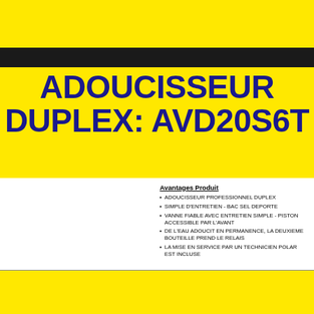ADOUCISSEUR DUPLEX: AVD20S6T
Avantages Produit
ADOUCISSEUR PROFESSIONNEL DUPLEX
SIMPLE D'ENTRETIEN - BAC SEL DEPORTE
VANNE FIABLE AVEC ENTRETIEN SIMPLE - PISTON ACCESSIBLE PAR L'AVANT
DE L'EAU ADOUCIT EN PERMANENCE, LA DEUXIEME BOUTEILLE PREND LE RELAIS
LA MISE EN SERVICE PAR UN TECHNICIEN POLAR EST INCLUSE